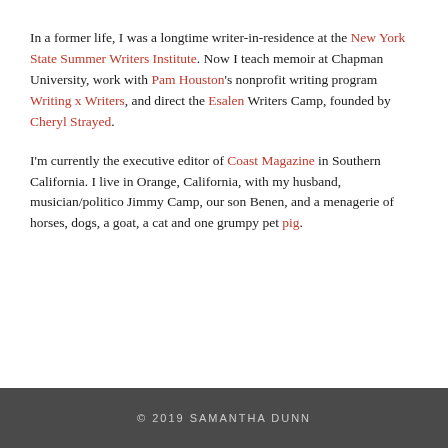In a former life, I was a longtime writer-in-residence at the New York State Summer Writers Institute. Now I teach memoir at Chapman University, work with Pam Houston's nonprofit writing program Writing x Writers, and direct the Esalen Writers Camp, founded by Cheryl Strayed.
I'm currently the executive editor of Coast Magazine in Southern California. I live in Orange, California, with my husband, musician/politico Jimmy Camp, our son Benen, and a menagerie of horses, dogs, a goat, a cat and one grumpy pet pig.
© 2019 SAMANTHA DUNN